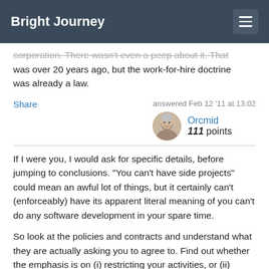Bright Journey
corporation. There wasn't even a peep about it. That was over 20 years ago, but the work-for-hire doctrine was already a law.
Share   answered Feb 12 '11 at 13:02   Orcmid   111 points
If I were you, I would ask for specific details, before jumping to conclusions. "You can't have side projects" could mean an awful lot of things, but it certainly can't (enforceably) have its apparent literal meaning of you can't do any software development in your spare time.
So look at the policies and contracts and understand what they are actually asking you to agree to. Find out whether the emphasis is on (i) restricting your activities, or (ii) asserting ownership of their results.